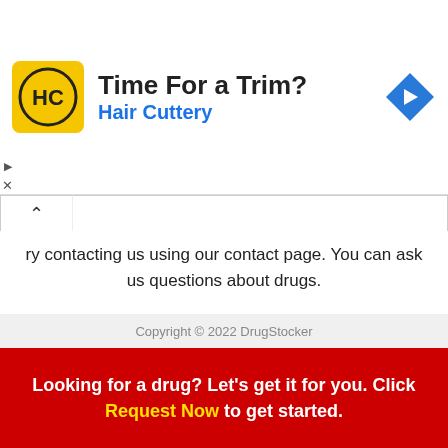[Figure (screenshot): Hair Cuttery advertisement banner with yellow logo showing HC initials, text 'Time For a Trim? Hair Cuttery', and a blue diamond navigation icon on the right]
ry contacting us using our contact page. You can ask us questions about drugs.
You can request that we find and deliver rare drugs to you.
Contact Us
Copyright © 2022 DrugStocker
Looking for a drug? Let's get it for you. Click Request Now to get started.